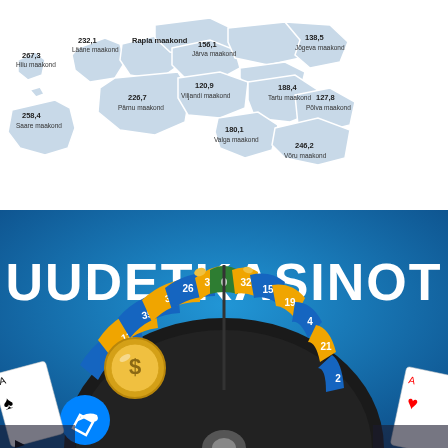[Figure (map): Choropleth map of Estonia showing counties (maakonnad) with numerical values. Regions labeled: Hiiu maakond 267,3; Lääne maakond (232,1 partially visible); Rapla maakond; Järva maakond 156,1; Jõgeva maakond 138,5; Saare maakond 258,4; Pärnu maakond 226,7; Viljandi maakond 120,9; Tartu maakond 188,4; Põlva maakond 127,8; Valga maakond 180,1; Võru maakond 246,2.]
[Figure (illustration): Casino advertisement banner with blue gradient background showing text UUDETKASINOT in large white bold letters, a roulette wheel with numbers (3, 12, 35, 28, 26, 36, 0, 32, 15, 19, 4, 21, 2), a gold coin with dollar sign, a Facebook Messenger icon, playing cards (spades and hearts) on both sides.]